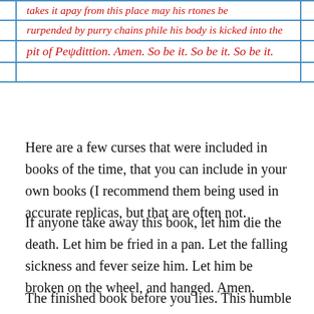|  | takes it apay from this place may his rtones be |  |
|  | rurpended by purry chains phile his body is kicked into the |  |
|  | pit of Perdittion. Amen. So be it. So be it. So be it. |  |
|  |  |  |
Here are a few curses that were included in books of the time, that you can include in your own books (I recommend them being used in accurate replicas, but that are often not.
If anyone take away this book, let him die the death. Let him be fried in a pan. Let the falling sickness and fever seize him. Let him be broken on the wheel, and hanged. Amen.
The finished book before you lies. This humble scribe don't criticize. Whoever takes away this book may he